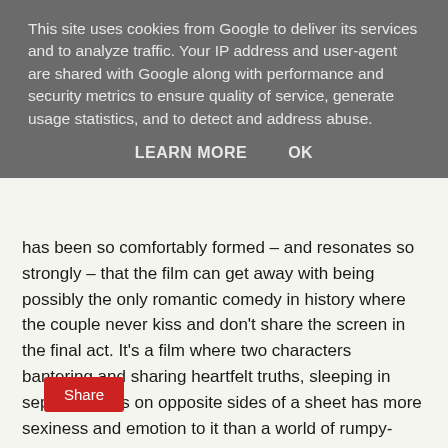This site uses cookies from Google to deliver its services and to analyze traffic. Your IP address and user-agent are shared with Google along with performance and security metrics to ensure quality of service, generate usage statistics, and to detect and address abuse.
LEARN MORE   OK
has been so comfortably formed – and resonates so strongly – that the film can get away with being possibly the only romantic comedy in history where the couple never kiss and don't share the screen in the final act. It's a film where two characters bantering and sharing heartfelt truths, sleeping in separate beds on opposite sides of a sheet has more sexiness and emotion to it than a world of rumpy-pumpy. It Happened One Night is just about the perfect romantic comedy, oft-imitated but never-bettered. You'll want to watch it again as soon as it finishes.
Share